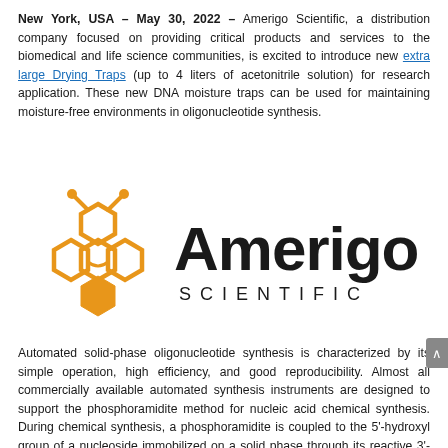New York, USA – May 30, 2022 – Amerigo Scientific, a distribution company focused on providing critical products and services to the biomedical and life science communities, is excited to introduce new extra large Drying Traps (up to 4 liters of acetonitrile solution) for research application. These new DNA moisture traps can be used for maintaining moisture-free environments in oligonucleotide synthesis.
[Figure (logo): Amerigo Scientific logo — orange honeycomb bee icon on the left and 'Amerigo SCIENTIFIC' text on the right in bold black lettering]
Automated solid-phase oligonucleotide synthesis is characterized by its simple operation, high efficiency, and good reproducibility. Almost all commercially available automated synthesis instruments are designed to support the phosphoramidite method for nucleic acid chemical synthesis. During chemical synthesis, a phosphoramidite is coupled to the 5'-hydroxyl group of a nucleoside immobilized on a solid phase through its reactive 3'-phosphorus group. Completing a single synthetic cycle results in the addition of one nucleotide residue to the growing chain. Each additional cycle consists of four chemical reactions, including detritylation (or deblocking), coupling, capping, and oxidation.